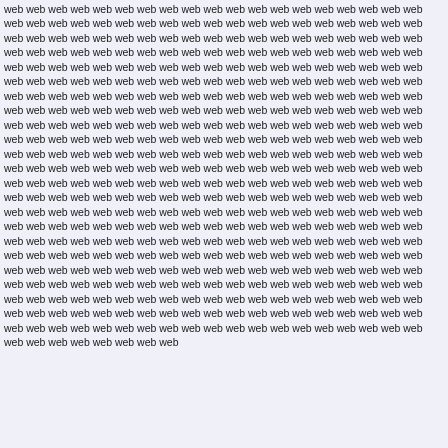web web web web web web web web web web web web web web web web web web web web web web web web web web web web web web web web web web web web web web web web web web web web web web web web web web web web web web web web web web web web web web web web web web web web web web web web web web web web web web web web web web web web web web web web web web web web web web web web web web web web web web web web web web web web web web web web web web web web web web web web web web web web web web web web web web web web web web web web web web web web web web web web web web web web web web web web web web web web web web web web web web web web web web web web web web web web web web web web web web web web web web web web web web web web web web web web web web web web web web web web web web web web web web web web web web web web web web web web web web web web web web web web web web web web web web web web web web web web web web web web web web web web web web web web web web web web web web web web web web web web web web web web web web web web web web web web web web web web web web web web web web web web web web web web web web web web web web web web web web web web web web web web web web web web web web web web web web web web web web web web web web web web web web web web web web web web web web web web web web web web web web web web web web web web web web web web web web web web web web web web web web web web web web web web web web web web web web web web web web web web web web web web web web web web web web web web web web web web web web web web web web web web web web web web web web web web web web web web web web web web web web web web web web web web web web web web web web web web web web web web web web web web